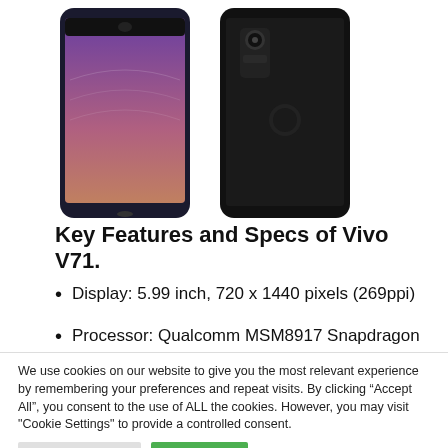[Figure (photo): Two Vivo V71 smartphones shown from front and back angles against a white background]
Key Features and Specs of Vivo V71.
Display: 5.99 inch, 720 x 1440 pixels (269ppi)
Processor: Qualcomm MSM8917 Snapdragon 425 with 3GB RAM
We use cookies on our website to give you the most relevant experience by remembering your preferences and repeat visits. By clicking “Accept All”, you consent to the use of ALL the cookies. However, you may visit "Cookie Settings" to provide a controlled consent.